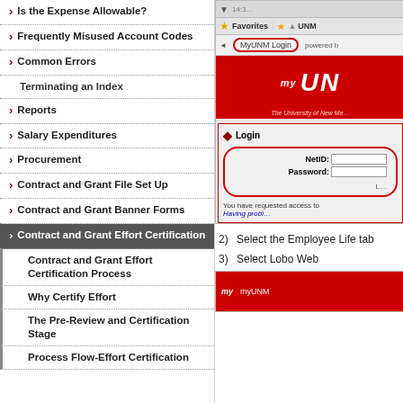Is the Expense Allowable?
Frequently Misused Account Codes
Common Errors
Terminating an Index
Reports
Salary Expenditures
Procurement
Contract and Grant File Set Up
Contract and Grant Banner Forms
Contract and Grant Effort Certification
Contract and Grant Effort Certification Process
Why Certify Effort
The Pre-Review and Certification Stage
Process Flow-Effort Certification
[Figure (screenshot): Screenshot of MyUNM login page showing browser with Favorites bar, MyUNM Login button circled in red, UNM red banner logo, and a Login dialog with NetID and Password fields circled in red, and text 'You have requested access to' and 'Having probl...']
2)	Select the Employee Life tab
3)	Select Lobo Web
[Figure (screenshot): Bottom portion of MyUNM screenshot showing red banner]